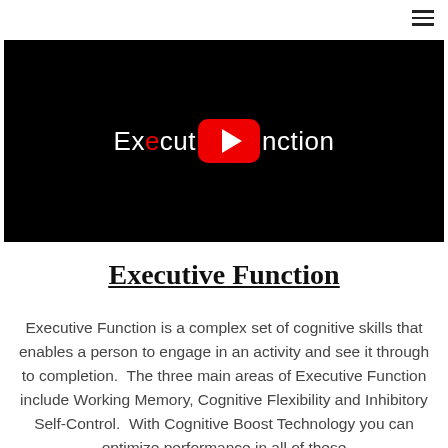[Figure (screenshot): YouTube video thumbnail with black background showing text 'Executive Function' with YouTube play button in the center]
Executive Function
Executive Function is a complex set of cognitive skills that enables a person to engage in an activity and see it through to completion.  The three main areas of Executive Function include Working Memory, Cognitive Flexibility and Inhibitory Self-Control.  With Cognitive Boost Technology you can optimize performance in all of these